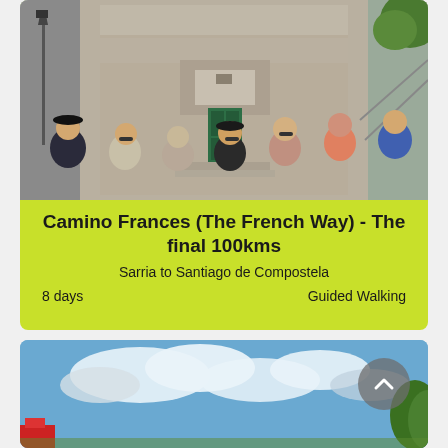[Figure (photo): Group of people posing in front of an old stone church or building with a green door. Trees visible on right side. Street lamps visible on left.]
Camino Frances (The French Way) - The final 100kms
Sarria to Santiago de Compostela
8 days   Guided Walking
[Figure (photo): Sky with blue sky, white clouds, trees visible on right. Red object partially visible on left bottom. A circular scroll-to-top button with chevron up arrow visible on right side.]